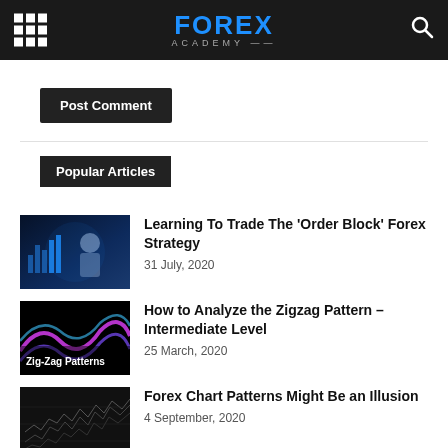FOREX ACADEMY
Post Comment
Popular Articles
[Figure (photo): Dark blue trading image with charts and a trader]
Learning To Trade The 'Order Block' Forex Strategy
31 July, 2020
[Figure (photo): Zig-Zag Patterns image with colorful wave pattern on dark background]
How to Analyze the Zigzag Pattern – Intermediate Level
25 March, 2020
[Figure (photo): Dark forex chart patterns image]
Forex Chart Patterns Might Be an Illusion
4 September, 2020